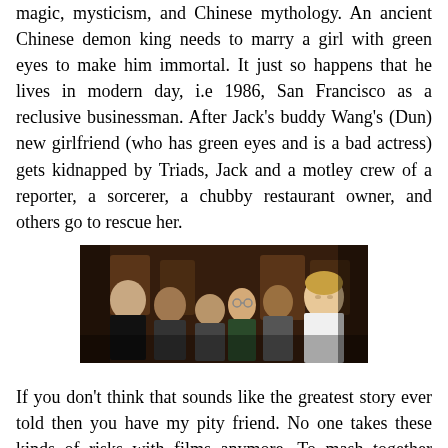magic, mysticism, and Chinese mythology. An ancient Chinese demon king needs to marry a girl with green eyes to make him immortal. It just so happens that he lives in modern day, i.e 1986, San Francisco as a reclusive businessman. After Jack's buddy Wang's (Dun) new girlfriend (who has green eyes and is a bad actress) gets kidnapped by Triads, Jack and a motley crew of a reporter, a sorcerer, a chubby restaurant owner, and others go to rescue her.
[Figure (photo): Group photo of several people posing together, appears to be a movie still from Big Trouble in Little China showing a diverse group of characters including a man in a white tank top on the right.]
If you don't think that sounds like the greatest story ever told then you have my pity friend. No one takes these kinds of risks with films anymore. To mash together fantasy, comedy, action and horror, and make it great is nearly impossible but Carpenter succeeds. It's Kurt Russell who holds the whole thing together, representing the audience with his bewilderment and constant questions about what the